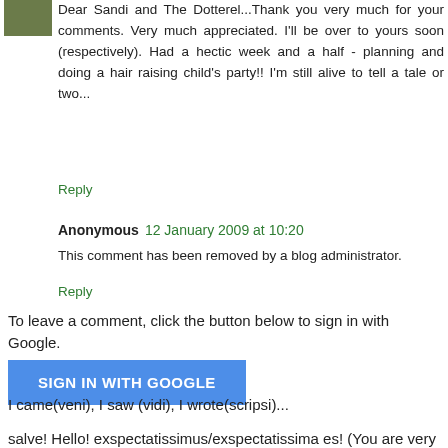Dear Sandi and The Dotterel...Thank you very much for your comments. Very much appreciated. I'll be over to yours soon (respectively). Had a hectic week and a half - planning and doing a hair raising child's party!! I'm still alive to tell a tale or two...
Reply
Anonymous  12 January 2009 at 10:20
This comment has been removed by a blog administrator.
Reply
To leave a comment, click the button below to sign in with Google.
SIGN IN WITH GOOGLE
I came(veni), I saw (vidi), I wrote(scripsi)...
salve! Hello! exspectatissimus/exspectatissima es! (You are very welcome!)